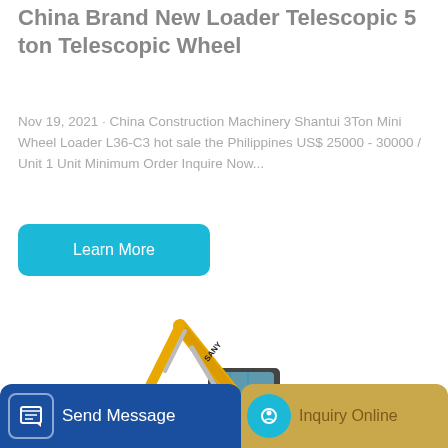China Brand New Loader Telescopic 5 ton Telescopic Wheel
Nov 19, 2021 · China Construction Machinery Shantui 3Ton Mini Wheel Loader L36-C3 hot sale the Philippines US$ 25000 - 30000 / Unit 1 Unit Minimum Order Inquire Now...
[Figure (other): Teal/cyan Learn More button]
[Figure (photo): Yellow SANY excavator SY205C on white background]
[Figure (other): Bottom bar with Send Message (blue) and Inquiry Online (gold) buttons]